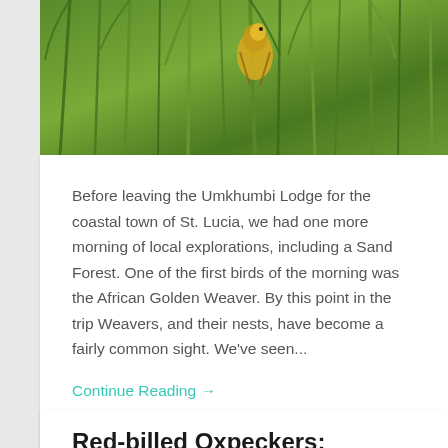[Figure (photo): Close-up photo of green grass/reeds with a yellow bird (African Golden Weaver) partially visible among the vegetation]
Before leaving the Umkhumbi Lodge for the coastal town of St. Lucia, we had one more morning of local explorations, including a Sand Forest. One of the first birds of the morning was the African Golden Weaver. By this point in the trip Weavers, and their nests, have become a fairly common sight. We've seen...
Continue Reading →
March 11, 2018  1
Red-billed Oxpeckers: